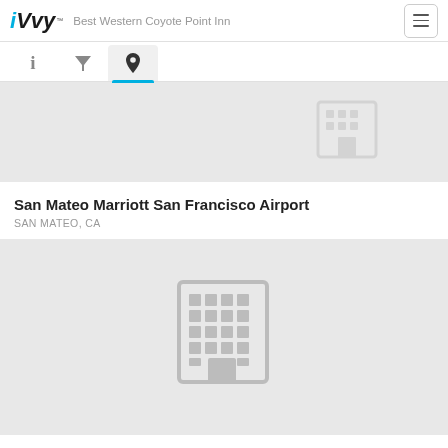iVvy — Best Western Coyote Point Inn
[Figure (screenshot): Navigation tab bar with info (i), filter (funnel icon), and location pin icon tabs. Location pin tab is active with blue underline.]
[Figure (screenshot): Gray placeholder map/image area with a building icon placeholder in the center-top area]
San Mateo Marriott San Francisco Airport
SAN MATEO, CA
[Figure (screenshot): Gray placeholder image area with a building/hotel icon in the center]